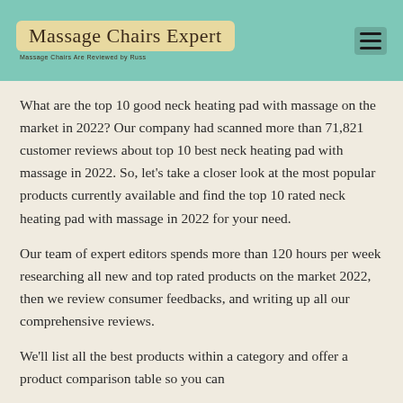Massage Chairs Expert
What are the top 10 good neck heating pad with massage on the market in 2022? Our company had scanned more than 71,821 customer reviews about top 10 best neck heating pad with massage in 2022. So, let's take a closer look at the most popular products currently available and find the top 10 rated neck heating pad with massage in 2022 for your need.
Our team of expert editors spends more than 120 hours per week researching all new and top rated products on the market 2022, then we review consumer feedbacks, and writing up all our comprehensive reviews.
We'll list all the best products within a category and offer a product comparison table so you can